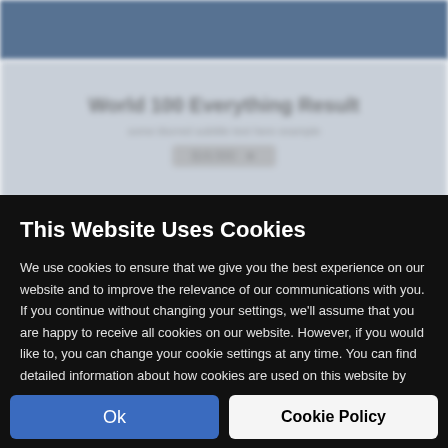[Figure (screenshot): Blurred website background showing a navigation bar and partially visible web page content behind the cookie consent overlay]
This Website Uses Cookies
We use cookies to ensure that we give you the best experience on our website and to improve the relevance of our communications with you. If you continue without changing your settings, we'll assume that you are happy to receive all cookies on our website. However, if you would like to, you can change your cookie settings at any time. You can find detailed information about how cookies are used on this website by clicking Cookie Policy.
Ok
Cookie Policy